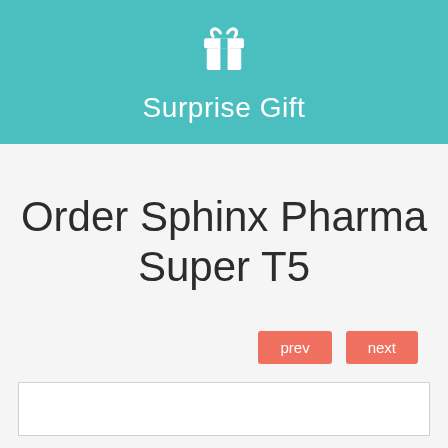[Figure (illustration): Teal banner with a white gift box icon and the text 'Surprise Gift' below it]
Order Sphinx Pharma Super T5
prev   next
[Figure (other): White content box with a light gray border at the bottom of the page]